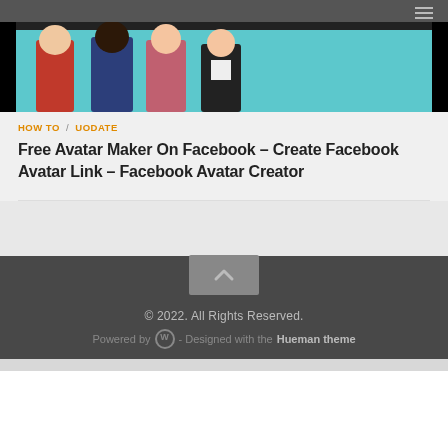[Figure (photo): Screenshot of Facebook Avatar creator showing several cartoon avatars standing together on a teal/cyan background]
HOW TO / UODATE
Free Avatar Maker On Facebook – Create Facebook Avatar Link – Facebook Avatar Creator
© 2022. All Rights Reserved. Powered by WordPress - Designed with the Hueman theme